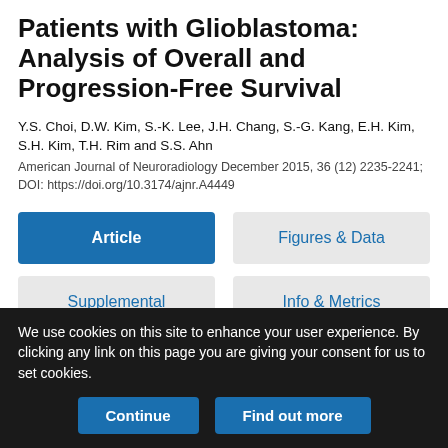Patients with Glioblastoma: Analysis of Overall and Progression-Free Survival
Y.S. Choi, D.W. Kim, S.-K. Lee, J.H. Chang, S.-G. Kang, E.H. Kim, S.H. Kim, T.H. Rim and S.S. Ahn
American Journal of Neuroradiology December 2015, 36 (12) 2235-2241; DOI: https://doi.org/10.3174/ajnr.A4449
Article
Figures & Data
Supplemental
Info & Metrics
We use cookies on this site to enhance your user experience. By clicking any link on this page you are giving your consent for us to set cookies.
Continue
Find out more